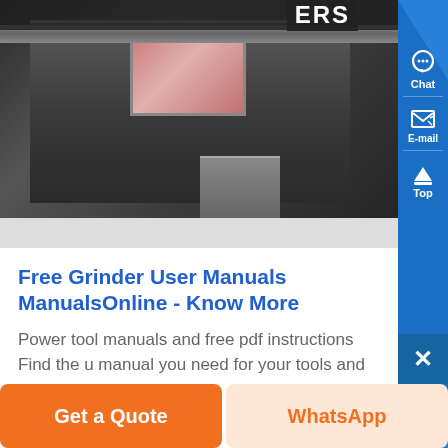[Figure (photo): Partial view of a grinder machine with metal parts, a pinkish screen/panel, and conveyor or flat surface visible]
Free Grinder User Manuals ManualsOnline - Know More
Power tool manuals and free pdf instructions Find the user manual you need for your tools and more at ManualsOnline...